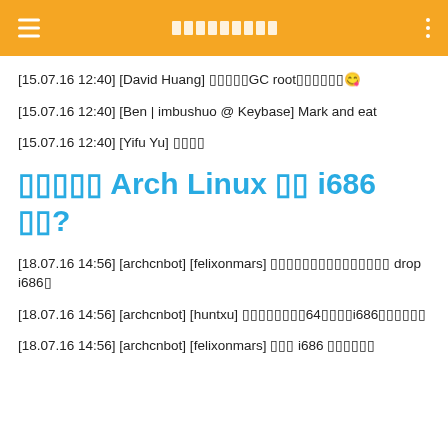□□□□□□□□□
[15.07.16 12:40] [David Huang] □□□□□GC root□□□□□□😋
[15.07.16 12:40] [Ben | imbushuo @ Keybase] Mark and eat
[15.07.16 12:40] [Yifu Yu] □□□□
□□□□□ Arch Linux □□ i686 □□?
[18.07.16 14:56] [archcnbot] [felixonmars] □□□□□□□□□□□□□□□ drop i686□
[18.07.16 14:56] [archcnbot] [huntxu] □□□□□□□□64□□□□i686□□□□□□
[18.07.16 14:56] [archcnbot] [felixonmars] □□□ i686 □□□□□□